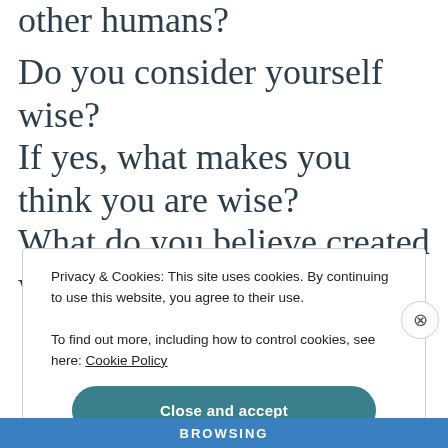other humans?
Do you consider yourself wise?
If yes, what makes you think you are wise?
What do you believe created wisdom that you have?
Privacy & Cookies: This site uses cookies. By continuing to use this website, you agree to their use. To find out more, including how to control cookies, see here: Cookie Policy
Close and accept